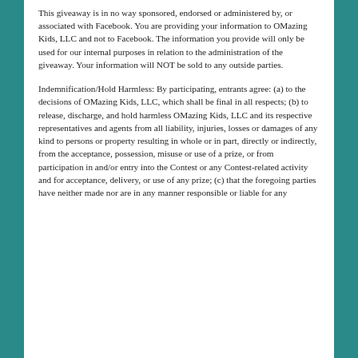This giveaway is in no way sponsored, endorsed or administered by, or associated with Facebook. You are providing your information to OMazing Kids, LLC and not to Facebook. The information you provide will only be used for our internal purposes in relation to the administration of the giveaway. Your information will NOT be sold to any outside parties.
Indemnification/Hold Harmless: By participating, entrants agree: (a) to the decisions of OMazing Kids, LLC, which shall be final in all respects; (b) to release, discharge, and hold harmless OMazing Kids, LLC and its respective representatives and agents from all liability, injuries, losses or damages of any kind to persons or property resulting in whole or in part, directly or indirectly, from the acceptance, possession, misuse or use of a prize, or from participation in and/or entry into the Contest or any Contest-related activity and for acceptance, delivery, or use of any prize; (c) that the foregoing parties have neither made nor are in any manner responsible or liable for any